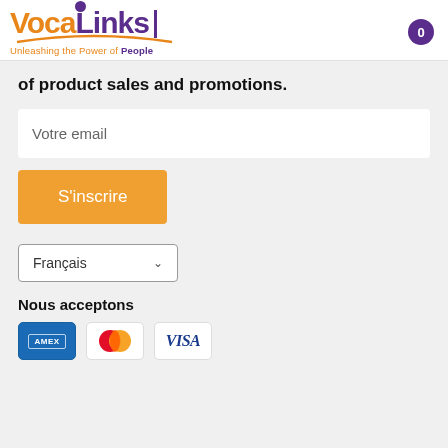[Figure (logo): VocaLinks logo with orange 'Voca' and purple 'Links' text, purple dot above the L, tagline 'Unleashing the Power of People' in orange and purple, with an arc underline]
of product sales and promotions.
Votre email
S'inscrire
Français
Nous acceptons
[Figure (other): Payment icons: American Express (AMEX), Mastercard (two overlapping circles red and orange), and VISA]